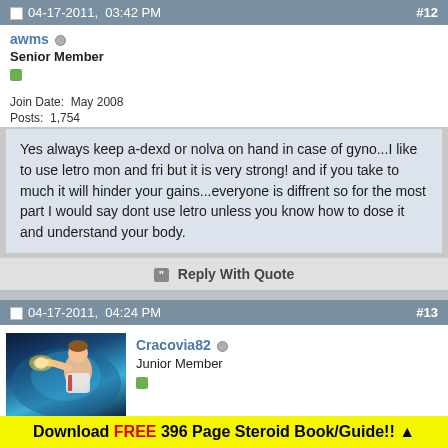04-17-2011, 03:42 PM  #12
awms
Senior Member
Join Date: May 2008
Posts: 1,754
Yes always keep a-dexd or nolva on hand in case of gyno...I like to use letro mon and fri but it is very strong! and if you take to much it will hinder your gains...everyone is diffrent so for the most part I would say dont use letro unless you know how to dose it and understand your body.
Reply With Quote
04-17-2011, 04:24 PM  #13
Cracovia82
Junior Member
Download FREE 396 Page Steroid Book/Guide!! ▲